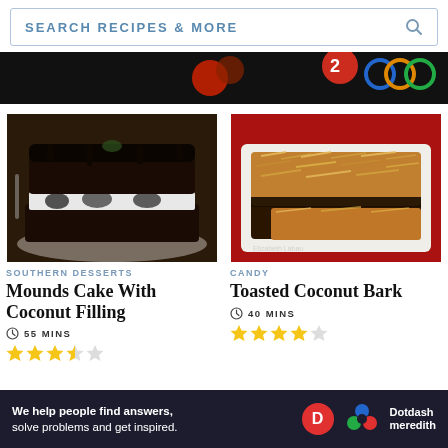SEARCH RECIPES & MORE
[Figure (photo): Dark black ad banner with colorful dots/circles on dark background]
[Figure (photo): Mounds Cake With Coconut Filling - a layered chocolate cake with white coconut cream filling, glazed with dark chocolate, on a glass cake stand]
SOUTHERN DESSERTS
Mounds Cake With Coconut Filling
55 MINS
[Figure (other): 3.5 out of 5 stars rating]
[Figure (photo): Toasted Coconut Bark - pieces of chocolate bark topped with toasted coconut on a white plate with red background]
CANDY
Toasted Coconut Bark
40 MINS
[Figure (other): 4 out of 5 stars rating]
[Figure (other): Dotdash Meredith bottom advertisement banner: We help people find answers, solve problems and get inspired.]
Ad